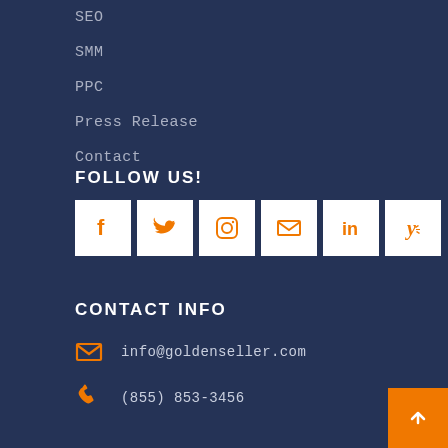SEO
SMM
PPC
Press Release
Contact
FOLLOW US!
[Figure (infographic): Social media icon buttons: Facebook, Twitter, Instagram, Email, LinkedIn, Yelp — white square boxes with orange icons]
CONTACT INFO
info@goldenseller.com
(855) 853-3456